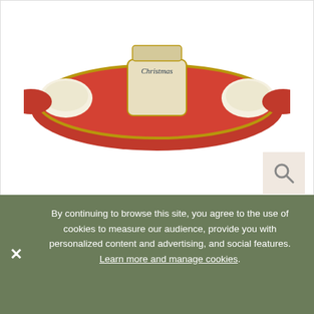[Figure (photo): Main product image showing a red Christmas tree shaped tealight gift set tin with candles on a white background]
[Figure (photo): Thumbnail 1: Red Christmas tree shaped tealight holder with circular tealight cutouts, front view]
[Figure (photo): Thumbnail 2: Red Christmas tree shaped tin showing back/label side with green tree design]
[Figure (photo): Thumbnail 3: Christmas tree tealight gift set tin shown in lifestyle context with decorations]
Wax Lyrical - Christmas Tree Tealight Gift Set Tin
By continuing to browse this site, you agree to the use of cookies to measure our audience, provide you with personalized content and advertising, and social features. Learn more and manage cookies.